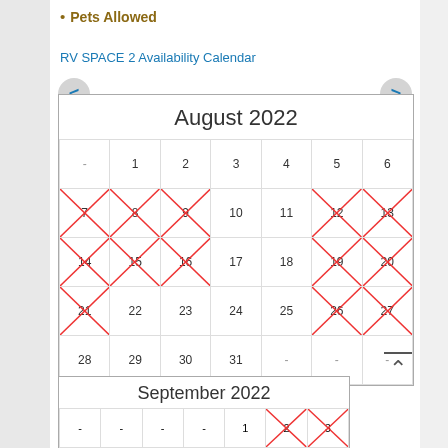Pets Allowed
RV SPACE 2 Availability Calendar
[Figure (other): August 2022 availability calendar with navigation arrows. Dates 7,8,9,12,13,14,15,16,19,20,21,26,27 marked with red X (unavailable). Dates 10,11,17,18,22,23,24,25,28,29,30,31 available.]
[Figure (other): September 2022 availability calendar (partial view). Dates 2 and 3 appear marked with red X.]